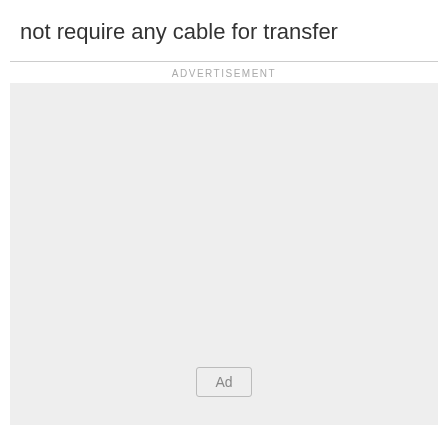not require any cable for transfer
ADVERTISEMENT
[Figure (other): Advertisement placeholder box with light gray background and an 'Ad' button in the lower center]